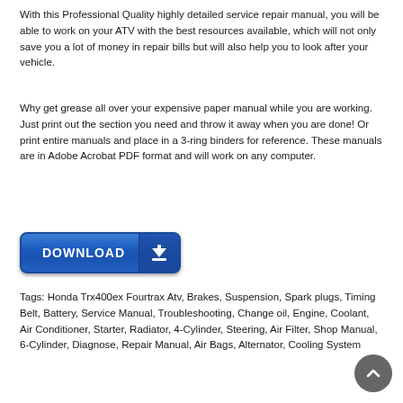With this Professional Quality highly detailed service repair manual, you will be able to work on your ATV with the best resources available, which will not only save you a lot of money in repair bills but will also help you to look after your vehicle.
Why get grease all over your expensive paper manual while you are working. Just print out the section you need and throw it away when you are done! Or print entire manuals and place in a 3-ring binders for reference. These manuals are in Adobe Acrobat PDF format and will work on any computer.
[Figure (other): Blue DOWNLOAD button with arrow icon]
Tags: Honda Trx400ex Fourtrax Atv, Brakes, Suspension, Spark plugs, Timing Belt, Battery, Service Manual, Troubleshooting, Change oil, Engine, Coolant, Air Conditioner, Starter, Radiator, 4-Cylinder, Steering, Air Filter, Shop Manual, 6-Cylinder, Diagnose, Repair Manual, Air Bags, Alternator, Cooling System